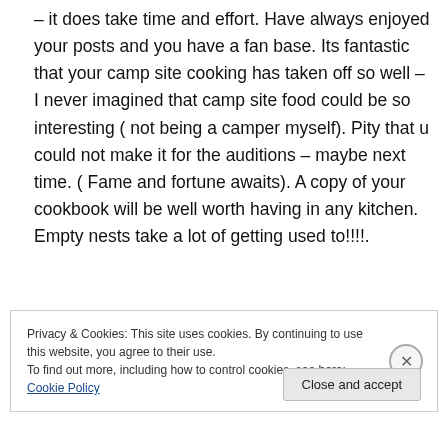– it does take time and effort. Have always enjoyed your posts and you have a fan base. Its fantastic that your camp site cooking has taken off so well – I never imagined that camp site food could be so interesting ( not being a camper myself). Pity that u could not make it for the auditions – maybe next time. ( Fame and fortune awaits). A copy of your cookbook will be well worth having in any kitchen. Empty nests take a lot of getting used to!!!!.
Privacy & Cookies: This site uses cookies. By continuing to use this website, you agree to their use. To find out more, including how to control cookies, see here: Cookie Policy